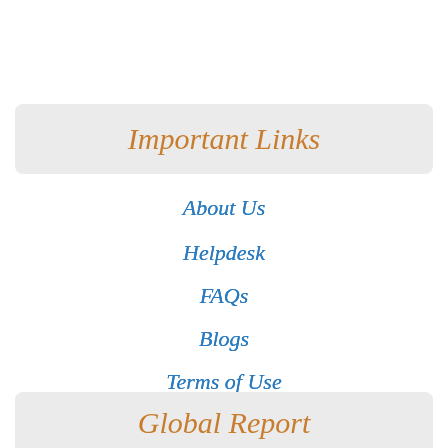Important Links
About Us
Helpdesk
FAQs
Blogs
Terms of Use
Privacy Policy
Refund Policy
Global Report